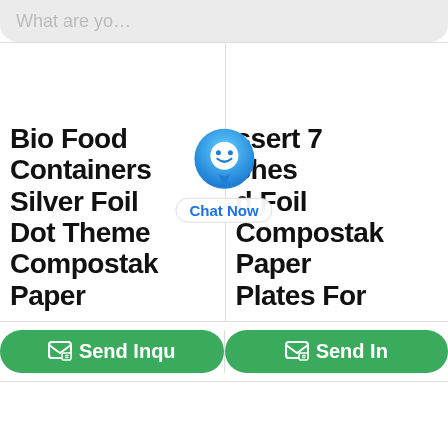[Figure (screenshot): Top search bar with placeholder text 'What are yo...']
Bio Food Containers Silver Foil Dot Theme Compostak Paper
ssert 7 ches d Foil Compostak Paper Plates For
[Figure (other): Chat Now button overlay with blue location-pin style icon and 'Chat Now' label]
Send Inqu
Send In